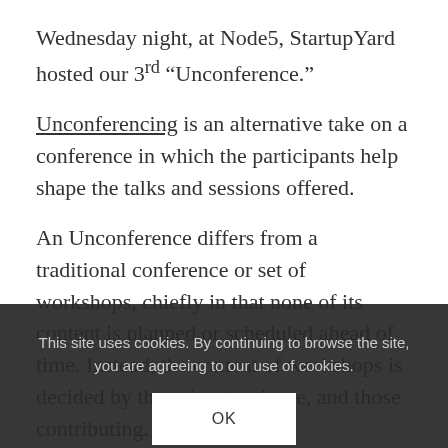Wednesday night, at Node5, StartupYard hosted our 3rd “Unconference.”
Unconferencing is an alternative take on a conference in which the participants help shape the talks and sessions offered.
An Unconference differs from a traditional conference or set of workshops, chiefly in that none of its content is planned or scheduled ahead of time. Instead, the content of workshops is decided by those in attendance, and those contributing.
This site uses cookies. By continuing to browse the site, you are agreeing to our use of cookies.